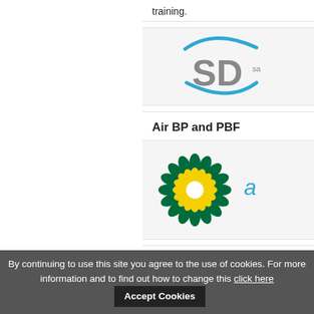training.
[Figure (logo): SD logo with blue orbital arc and grey letters SD]
Air BP and PBF
[Figure (logo): Air BP logo: BP green-and-yellow sunflower with text 'air bp']
Flying Colours
By continuing to use this site you agree to the use of cookies. For more information and to find out how to change this click here
Accept Cookies